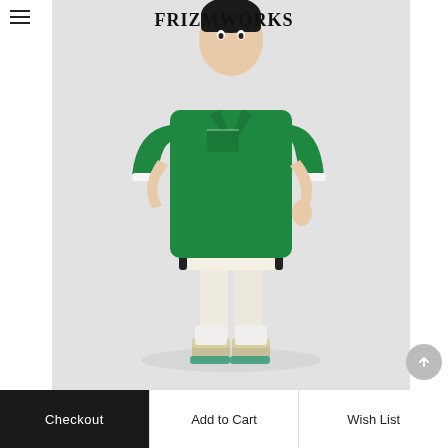[Figure (logo): FRIZMWORKS brand logo text in bold serif font]
[Figure (photo): Male model wearing a green terry cloth polo shirt and cream/off-white shorts with black side stripe detail, white socks, and beige high-top sneakers. Standing against a light grey background.]
Checkout | Add to Cart | Wish List